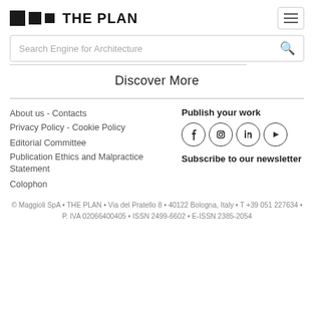THE PLAN
Search Engine for Architecture
Discover More
About us - Contacts
Privacy Policy - Cookie Policy
Editorial Committee
Publication Ethics and Malpractice Statement
Colophon
Publish your work
Subscribe to our newsletter
© Maggioli SpA • THE PLAN • Via del Pratello 8 • 40122 Bologna, Italy • T +39 051 227634 • P. IVA 02066400405 • ISSN 2499-6602 • E-ISSN 2385-2054